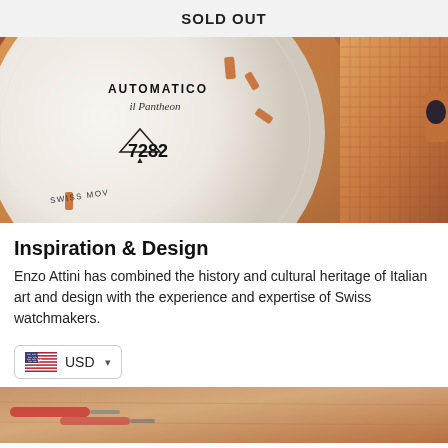SOLD OUT
[Figure (photo): Close-up photograph of a rose gold watch dial showing 'AUTOMATICO il Pantheon' text, number 7282, Swiss Movement inscription, rose gold hour markers, and a rose gold mesh bracelet on the right side.]
Inspiration & Design
Enzo Attini has combined the history and cultural heritage of Italian art and design with the experience and expertise of Swiss watchmakers.
[Figure (screenshot): Currency selector widget showing a US flag icon and 'USD' with a dropdown arrow.]
[Figure (photo): Partial bottom image showing watchmaking tools on a leather/wood surface in warm brown tones.]